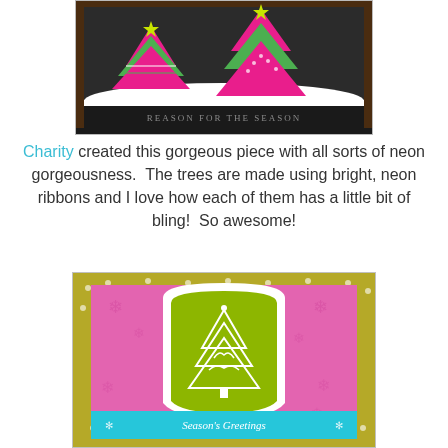[Figure (photo): A framed craft piece showing colorful neon Christmas trees made with bright pink, green, and striped ribbons with bling, set against a dark background with a text banner at the bottom.]
Charity created this gorgeous piece with all sorts of neon gorgeousness.  The trees are made using bright, neon ribbons and I love how each of them has a little bit of bling!  So awesome!
[Figure (photo): A handmade greeting card featuring a pink floral background with a white arch frame, a lime green panel with an ornate white Christmas tree stamp, and a teal banner at the bottom reading 'Season's Greetings'.]